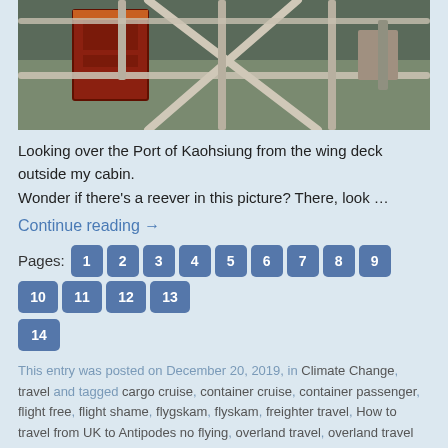[Figure (photo): Photo looking over the Port of Kaohsiung from the wing deck outside a cabin. Shows a red metal box/container, metal railings crossing diagonally, and dark water/dock below.]
Looking over the Port of Kaohsiung from the wing deck outside my cabin.
Wonder if there’s a reever in this picture? There, look …
Continue reading →
Pages: 1 2 3 4 5 6 7 8 9 10 11 12 13 14
This entry was posted on December 20, 2019, in Climate Change, travel and tagged cargo cruise, container cruise, container passenger, flight free, flight shame, flygskam, flyskam, freighter travel, How to travel from UK to Antipodes no flying, overland travel, overland travel from UK to Antipodes, overland UK to Antipodes, overland UK to Australia, overland UK to NZ, passenger on cargo ship, passenger on freight ship, sea travel.
12 Comments